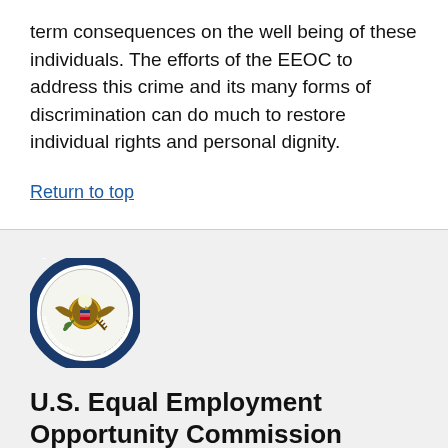term consequences on the well being of these individuals. The efforts of the EEOC to address this crime and its many forms of discrimination can do much to restore individual rights and personal dignity.
Return to top
[Figure (logo): U.S. Equal Employment Opportunity Commission circular seal with eagle emblem]
U.S. Equal Employment Opportunity Commission
EEOC Headquarters